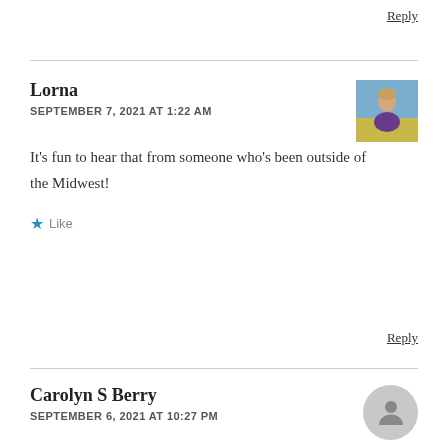Reply
Lorna
SEPTEMBER 7, 2021 AT 1:22 AM
[Figure (photo): Avatar photo of Lorna, a woman outdoors with blue sky background]
It’s fun to hear that from someone who’s been outside of the Midwest!
Like
Reply
Carolyn S Berry
SEPTEMBER 6, 2021 AT 10:27 PM
[Figure (photo): Gray placeholder avatar icon for Carolyn S Berry]